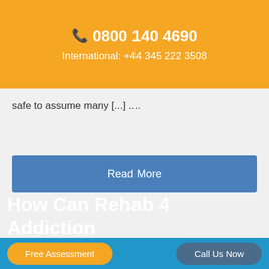0800 140 4690
International: +44 345 222 3508
safe to assume many [...] ....
Read More
How Can Rehab 4 Addiction
Free Assessment
Call Us Now